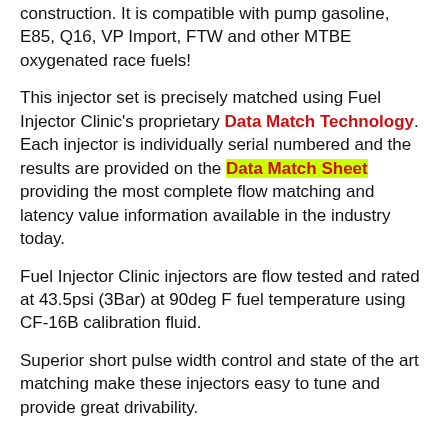construction. It is compatible with pump gasoline, E85, Q16, VP Import, FTW and other MTBE oxygenated race fuels!
This injector set is precisely matched using Fuel Injector Clinic's proprietary Data Match Technology. Each injector is individually serial numbered and the results are provided on the Data Match Sheet providing the most complete flow matching and latency value information available in the industry today.
Fuel Injector Clinic injectors are flow tested and rated at 43.5psi (3Bar) at 90deg F fuel temperature using CF-16B calibration fluid.
Superior short pulse width control and state of the art matching make these injectors easy to tune and provide great drivability.